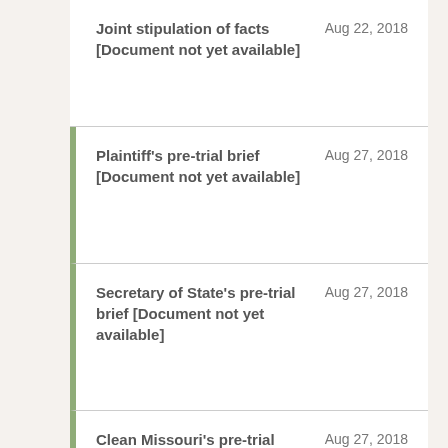Joint stipulation of facts [Document not yet available]  Aug 22, 2018
Plaintiff's pre-trial brief [Document not yet available]  Aug 27, 2018
Secretary of State's pre-trial brief [Document not yet available]  Aug 27, 2018
Clean Missouri's pre-trial brief [Document not yet available]  Aug 27, 2018